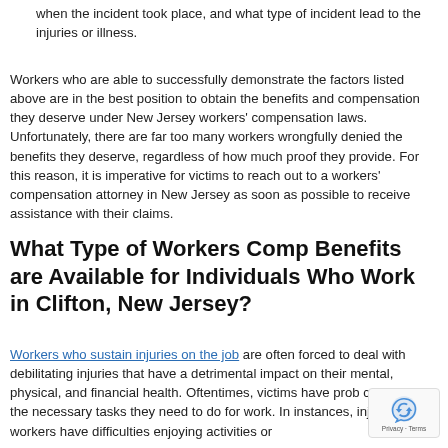when the incident took place, and what type of incident lead to the injuries or illness.
Workers who are able to successfully demonstrate the factors listed above are in the best position to obtain the benefits and compensation they deserve under New Jersey workers' compensation laws. Unfortunately, there are far too many workers wrongfully denied the benefits they deserve, regardless of how much proof they provide. For this reason, it is imperative for victims to reach out to a workers' compensation attorney in New Jersey as soon as possible to receive assistance with their claims.
What Type of Workers Comp Benefits are Available for Individuals Who Work in Clifton, New Jersey?
Workers who sustain injuries on the job are often forced to deal with debilitating injuries that have a detrimental impact on their mental, physical, and financial health. Oftentimes, victims have prob completing the necessary tasks they need to do for work. In instances, injured workers have difficulties enjoying activities or